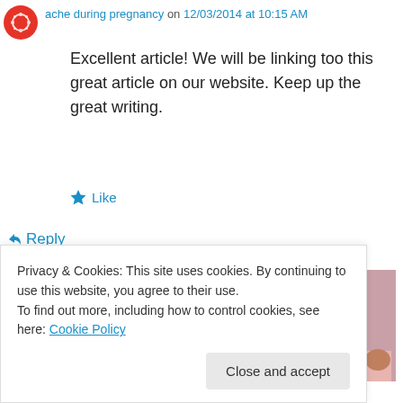ache during pregnancy on 12/03/2014 at 10:15 AM
Excellent article! We will be linking too this great article on our website. Keep up the great writing.
★ Like
↪ Reply
[Figure (screenshot): Advertisement banner with dark navy background showing 'Get a quote now' button and fashion images on right side]
Privacy & Cookies: This site uses cookies. By continuing to use this website, you agree to their use.
To find out more, including how to control cookies, see here: Cookie Policy
Close and accept